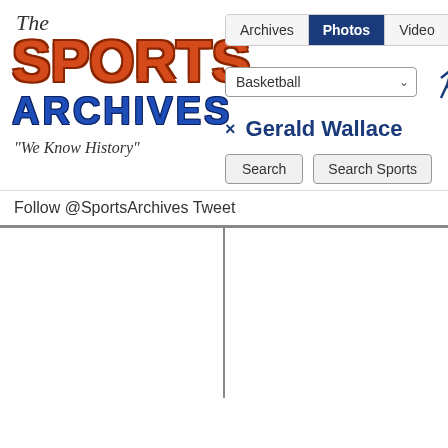[Figure (logo): The Sports Archives logo with 'The' in italic script, 'SPORTS' in large red block letters, 'ARCHIVES' in blue block letters, and tagline 'We Know History' in italic script]
Archives  Photos  Video  Audio
Basketball
Gerald Wallace
Search   Search Sports
Follow @SportsArchives Tweet